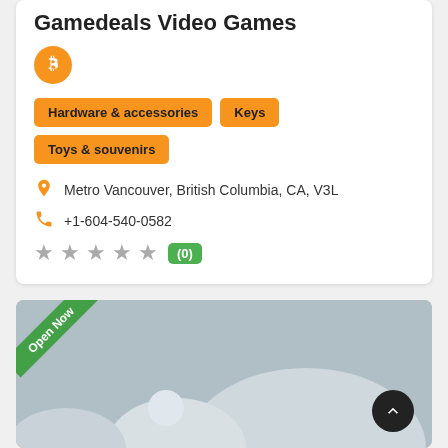Gamedeals Video Games
[Figure (logo): Bitcoin orange circular logo icon]
Hardware & accessories
Keys
Toys & souvenirs
Metro Vancouver, British Columbia, CA, V3L
+1-604-540-0582
★★★★★ (0)
[Figure (photo): Placeholder image with gray background and white mountain/circle shapes, Open Now green diagonal banner in top-left corner, scroll-to-top black circular button in bottom-right]